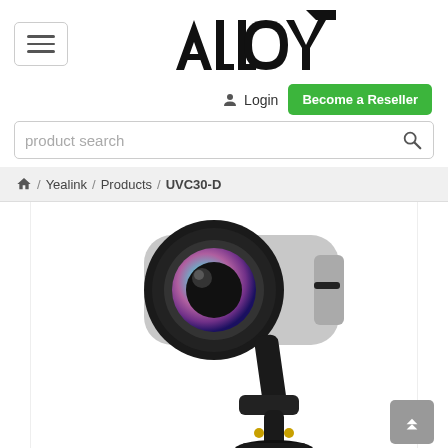[Figure (logo): Alloy brand logo in bold black letters with geometric styling]
Login
Become a Reseller
product search
/ Yealink / Products / UVC30-D
[Figure (photo): Yealink UVC30-D USB camera with wide-angle lens, silver and black body, mounted on black adjustable stand bracket]